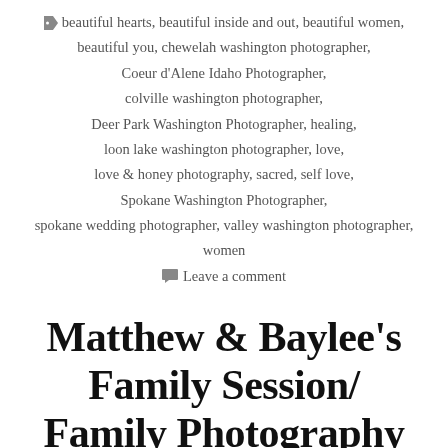beautiful hearts, beautiful inside and out, beautiful women, beautiful you, chewelah washington photographer, Coeur d'Alene Idaho Photographer, colville washington photographer, Deer Park Washington Photographer, healing, loon lake washington photographer, love, love & honey photography, sacred, self love, Spokane Washington Photographer, spokane wedding photographer, valley washington photographer, women
Leave a comment
Matthew & Baylee's Family Session/ Family Photography Session / Nampa